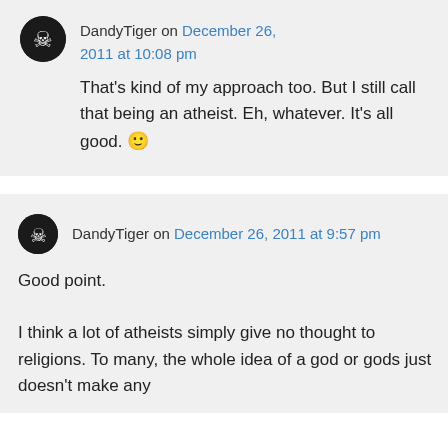DandyTiger on December 26, 2011 at 10:08 pm
That's kind of my approach too. But I still call that being an atheist. Eh, whatever. It's all good. 🙂
DandyTiger on December 26, 2011 at 9:57 pm
Good point.

I think a lot of atheists simply give no thought to religions. To many, the whole idea of a god or gods just doesn't make any